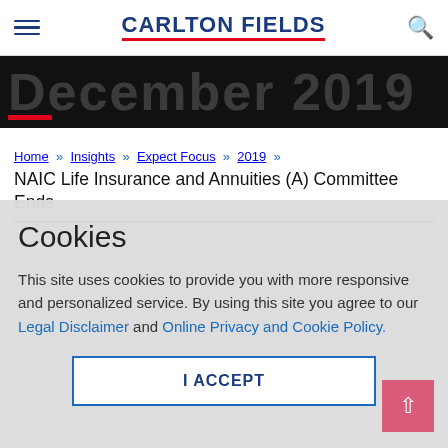CARLTON FIELDS
[Figure (screenshot): Dark banner with large partially visible text 'December 2019' and a red underline bar]
Home » Insights » Expect Focus » 2019 »
NAIC Life Insurance and Annuities (A) Committee Ends
Cookies
This site uses cookies to provide you with more responsive and personalized service. By using this site you agree to our Legal Disclaimer and Online Privacy and Cookie Policy.
I ACCEPT